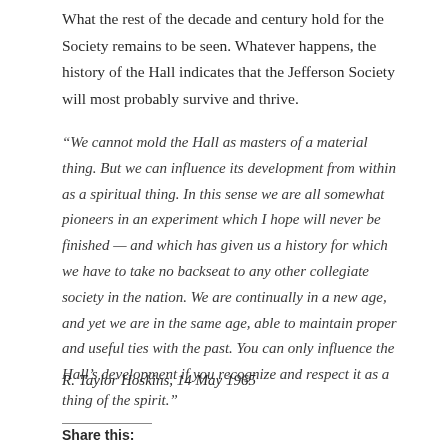What the rest of the decade and century hold for the Society remains to be seen. Whatever happens, the history of the Hall indicates that the Jefferson Society will most probably survive and thrive.
“We cannot mold the Hall as masters of a material thing. But we can influence its development from within as a spiritual thing. In this sense we are all somewhat pioneers in an experiment which I hope will never be finished — and which has given us a history for which we have to take no backseat to any other collegiate society in the nation. We are continually in a new age, and yet we are in the same age, able to maintain proper and useful ties with the past. You can only influence the Hall’s development if you recognize and respect it as a thing of the spirit.”
R. Taylor Hoskins, 14 May 1965
Share this: